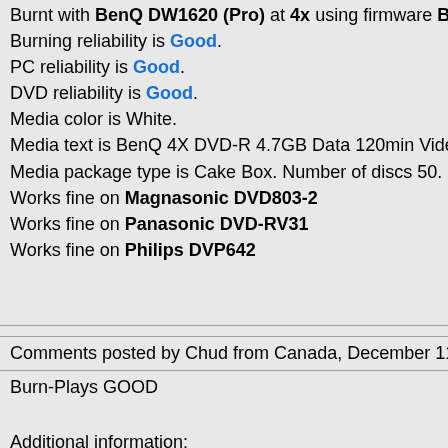Burnt with BenQ DW1620 (Pro) at 4x using firmware B7S
Burning reliability is Good.
PC reliability is Good.
DVD reliability is Good.
Media color is White.
Media text is BenQ 4X DVD-R 4.7GB Data 120min Video.
Media package type is Cake Box. Number of discs 50.
Works fine on Magnasonic DVD803-2
Works fine on Panasonic DVD-RV31
Works fine on Philips DVP642
Comments posted by Chud from Canada, December 11, 2
Burn-Plays GOOD
Additional information:
Price: $0.5 Purchased from: Futureshop.CA Date purchase
September 2004